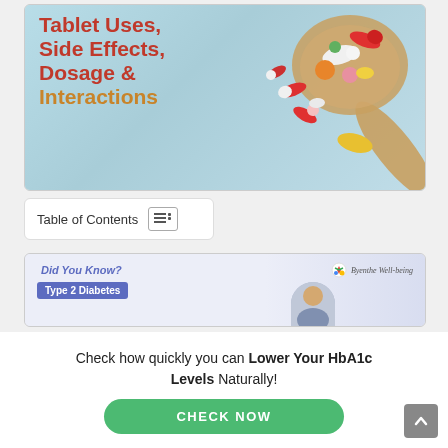[Figure (photo): Hero banner image showing colorful pills and capsules on a wooden spoon against a light blue background, with bold text overlay reading 'Tablet Uses, Side Effects, Dosage & Interactions']
Tablet Uses, Side Effects, Dosage & Interactions
Table of Contents
[Figure (infographic): Did You Know? Type 2 Diabetes promotional banner with Byenthe Well-being logo and a person's photo]
Check how quickly you can Lower Your HbA1c Levels Naturally!
CHECK NOW